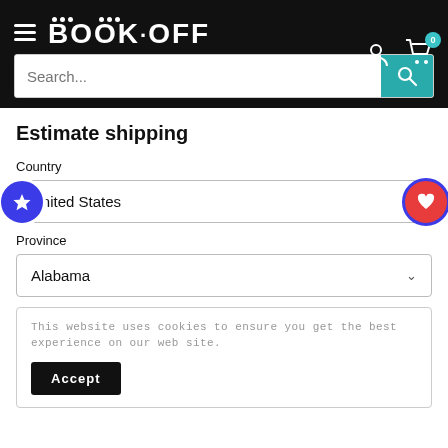[Figure (screenshot): BOOK·OFF website header with hamburger menu, logo, user icon, and cart icon with badge '0']
[Figure (screenshot): Search bar with placeholder text 'Search...' and teal search button]
Estimate shipping
Country
United States
Province
Alabama
This website uses cookies to ensure you get the best experience on our web site.
Accept